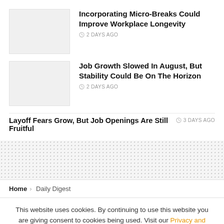Incorporating Micro-Breaks Could Improve Workplace Longevity
2 DAYS AGO
Job Growth Slowed In August, But Stability Could Be On The Horizon
2 DAYS AGO
Layoff Fears Grow, But Job Openings Are Still Fruitful
3 DAYS AGO
[Figure (other): Dotted/stippled background pattern section]
Home > Daily Digest
This website uses cookies. By continuing to use this website you are giving consent to cookies being used. Visit our Privacy and Cookie Policy.
I Agree